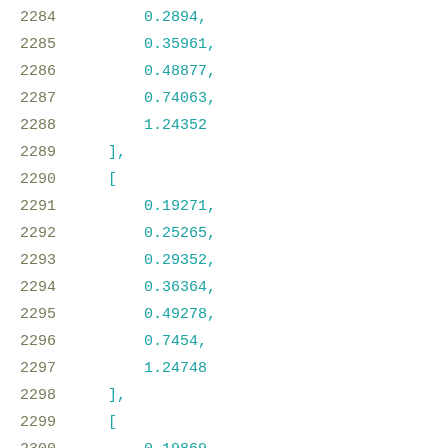2284    0.2894,
2285    0.35961,
2286    0.48877,
2287    0.74063,
2288    1.24352
2289    ],
2290    [
2291    0.19271,
2292    0.25265,
2293    0.29352,
2294    0.36364,
2295    0.49278,
2296    0.7454,
2297    1.24748
2298    ],
2299    [
2300    0.19869,
2301    0.25863,
2302    0.29951,
2303    0.36969,
2304    0.4988,